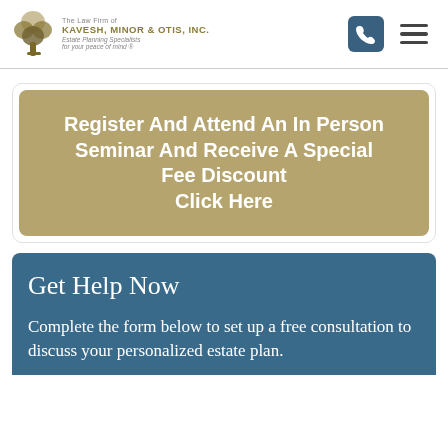The Law Firm of KAVESH, MINOR & OTIS, INC. Estate Planning Specialists. For your peace of mind.
Register And Attend An In Person Seminar And Receive A Special Fee Discount Click Here
Get Help Now
Complete the form below to set up a free consultation to discuss your personalized estate plan.